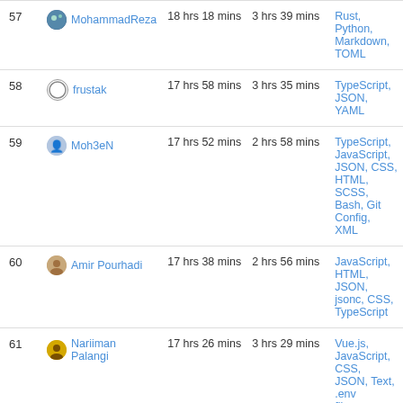| # | User | Total Time | Daily Avg | Languages |
| --- | --- | --- | --- | --- |
| 57 | MohammadReza | 18 hrs 18 mins | 3 hrs 39 mins | Rust, Python, Markdown, TOML |
| 58 | frustak | 17 hrs 58 mins | 3 hrs 35 mins | TypeScript, JSON, YAML |
| 59 | Moh3eN | 17 hrs 52 mins | 2 hrs 58 mins | TypeScript, JavaScript, JSON, CSS, HTML, SCSS, Bash, Git Config, XML |
| 60 | Amir Pourhadi | 17 hrs 38 mins | 2 hrs 56 mins | JavaScript, HTML, JSON, jsonc, CSS, TypeScript |
| 61 | Nariiman Palangi | 17 hrs 26 mins | 3 hrs 29 mins | Vue.js, JavaScript, CSS, JSON, Text, .env file, TypeScript, Bash, HTML, ... |
| 62 | Reza | 17 hrs 12 mins | 2 hrs 52 mins | PHP, Blade |